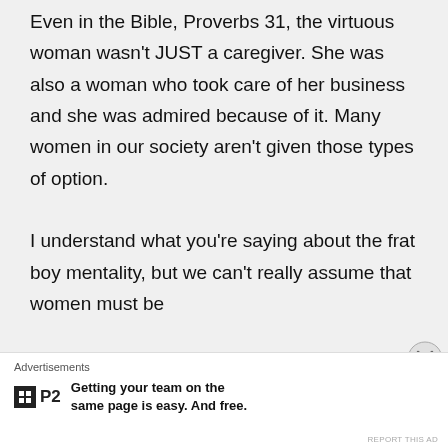Even in the Bible, Proverbs 31, the virtuous woman wasn't JUST a caregiver. She was also a woman who took care of her business and she was admired because of it. Many women in our society aren't given those types of option.

I understand what you're saying about the frat boy mentality, but we can't really assume that women must be
[Figure (other): Close/dismiss button (circled X) at right side of page]
Advertisements
[Figure (logo): P2 logo — small black box with grid icon followed by bold P2 text]
Getting your team on the same page is easy. And free.